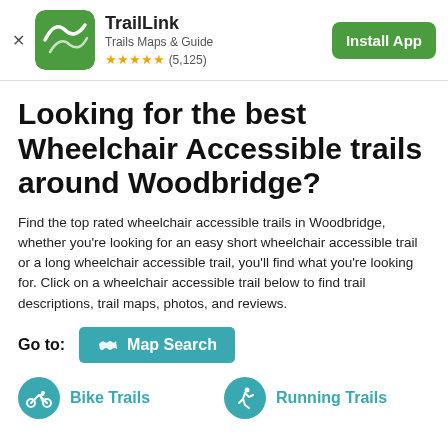[Figure (logo): TrailLink app banner with green logo icon, app name, subtitle, star rating, and Install App button]
Looking for the best Wheelchair Accessible trails around Woodbridge?
Find the top rated wheelchair accessible trails in Woodbridge, whether you're looking for an easy short wheelchair accessible trail or a long wheelchair accessible trail, you'll find what you're looking for. Click on a wheelchair accessible trail below to find trail descriptions, trail maps, photos, and reviews.
Go to: Map Search
Bike Trails   Running Trails